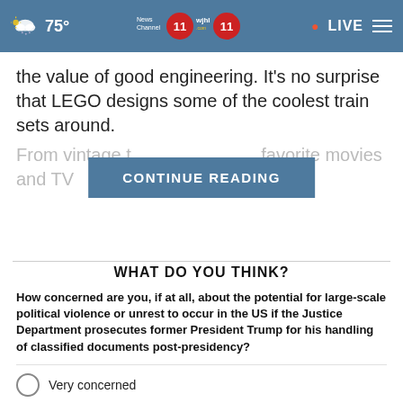75° | News Channel 11 | WJHL 11 | LIVE
the value of good engineering. It's no surprise that LEGO designs some of the coolest train sets around.
From vintage t... favorite movies and TV... hether you're
CONTINUE READING
WHAT DO YOU THINK?
How concerned are you, if at all, about the potential for large-scale political violence or unrest to occur in the US if the Justice Department prosecutes former President Trump for his handling of classified documents post-presidency?
Very concerned
Somewhat concerned
Not at all concerned